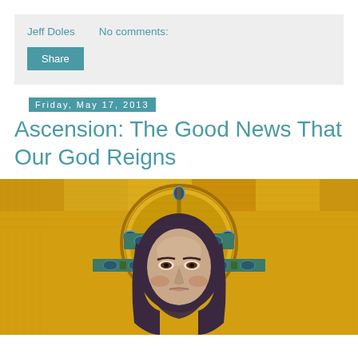Jeff Doles   No comments:
Share
Friday, May 17, 2013
Ascension: The Good News That Our God Reigns
[Figure (photo): Byzantine mosaic depicting the face of Christ Pantocrator with golden halo and jeweled crown, from a religious artwork]